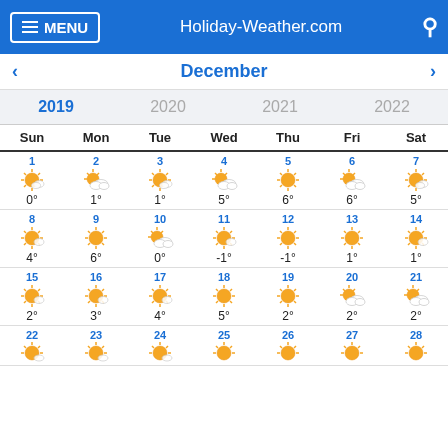MENU | Holiday-Weather.com
December
| Sun | Mon | Tue | Wed | Thu | Fri | Sat |
| --- | --- | --- | --- | --- | --- | --- |
| 1 sunny 0° | 2 partly cloudy 1° | 3 sunny 1° | 4 partly cloudy 5° | 5 sunny 6° | 6 partly cloudy 6° | 7 sunny 5° |
| 8 sunny 4° | 9 sunny 6° | 10 partly cloudy 0° | 11 sunny -1° | 12 sunny -1° | 13 sunny 1° | 14 sunny 1° |
| 15 sunny 2° | 16 sunny 3° | 17 sunny 4° | 18 sunny 5° | 19 sunny 2° | 20 partly cloudy 2° | 21 partly cloudy 2° |
| 22 sunny | 23 sunny | 24 sunny | 25 sunny | 26 sunny | 27 sunny | 28 sunny |